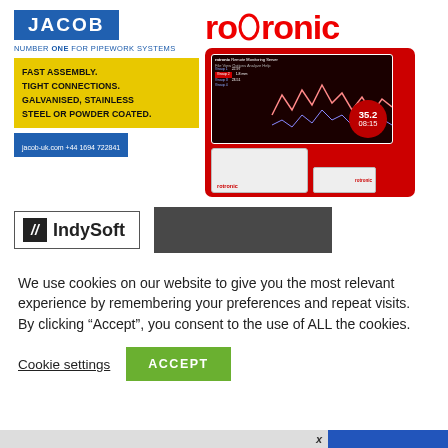[Figure (logo): Jacob pipework systems advertisement with blue logo, yellow background text: FAST ASSEMBLY. TIGHT CONNECTIONS. GALVANISED, STAINLESS STEEL OR POWDER COATED. Contact: jacob-uk.com +44 1694 722841]
[Figure (logo): Rotronic logo in red with product image showing monitoring device screen and hardware units]
[Figure (logo): IndySoft logo in bordered box]
[Figure (other): Dark grey/charcoal rectangular banner]
We use cookies on our website to give you the most relevant experience by remembering your preferences and repeat visits. By clicking “Accept”, you consent to the use of ALL the cookies.
Cookie settings
ACCEPT